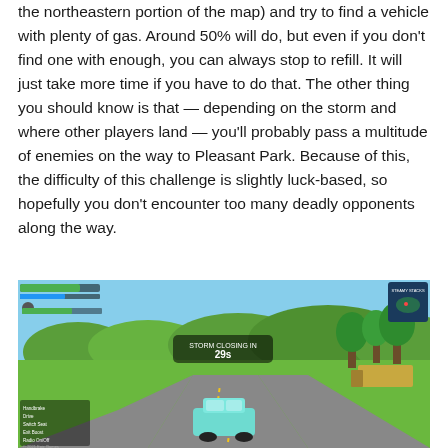the northeastern portion of the map) and try to find a vehicle with plenty of gas. Around 50% will do, but even if you don't find one with enough, you can always stop to refill. It will just take more time if you have to do that. The other thing you should know is that — depending on the storm and where other players land — you'll probably pass a multitude of enemies on the way to Pleasant Park. Because of this, the difficulty of this challenge is slightly luck-based, so hopefully you don't encounter too many deadly opponents along the way.
[Figure (screenshot): Screenshot of a Fortnite gameplay scene showing a teal car driving on a road with green trees and landscape in the background, a storm closing indicator showing '29s', and a minimap in the top-right corner showing 'STEAMY STACKS' location. HUD elements including item slots and player info are visible on the left side.]